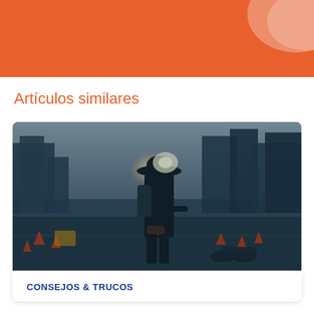[Figure (other): Orange header bar with a lighter salmon/pink decorative rounded shape in the upper right corner]
Artículos similares
[Figure (photo): Photograph of a person wearing a wide-brim hat and backpack standing in an urban street scene with construction cones and city buildings in the background, teal/dark color grading]
CONSEJOS & TRUCOS